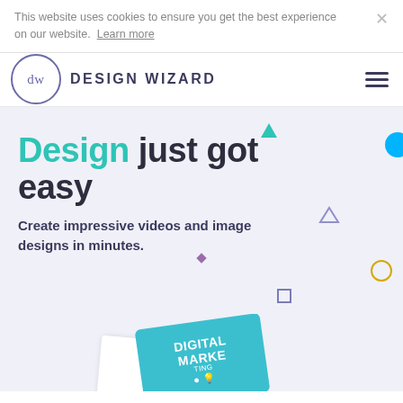This website uses cookies to ensure you get the best experience on our website. Learn more
[Figure (logo): Design Wizard logo: circle with 'dw' initials and text 'DESIGN WIZARD']
Design just got easy
Create impressive videos and image designs in minutes.
[Figure (illustration): Partial view of a teal/blue card design with 'DIGITAL MARKE...' text and a white card in front, on a light purple background]